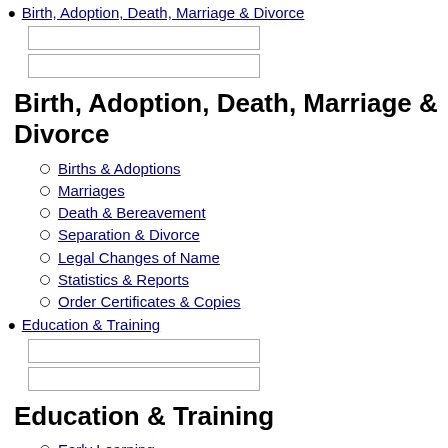Birth, Adoption, Death, Marriage & Divorce
Birth, Adoption, Death, Marriage & Divorce
Births & Adoptions
Marriages
Death & Bereavement
Separation & Divorce
Legal Changes of Name
Statistics & Reports
Order Certificates & Copies
Education & Training
Education & Training
Early Learning
Kindergarten to Grade 12